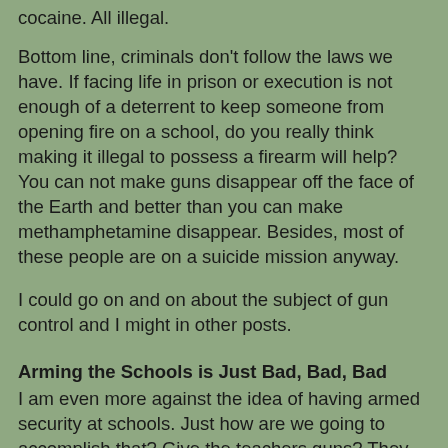cocaine. All illegal.
Bottom line, criminals don't follow the laws we have. If facing life in prison or execution is not enough of a deterrent to keep someone from opening fire on a school, do you really think making it illegal to possess a firearm will help? You can not make guns disappear off the face of the Earth and better than you can make methamphetamine disappear. Besides, most of these people are on a suicide mission anyway.
I could go on and on about the subject of gun control and I might in other posts.
Arming the Schools is Just Bad, Bad, Bad
I am even more against the idea of having armed security at schools. Just how are we going to accomplish that? Give the teachers guns? They have more than enough on their plates right now. Their budgets are wasted on administrative BS before the funds make it to the classroom. More and more of the kids they work with are close to uncontrollable. And their struggling to keep up with testing requirements. Now you want to throw marksmanship into the mix?